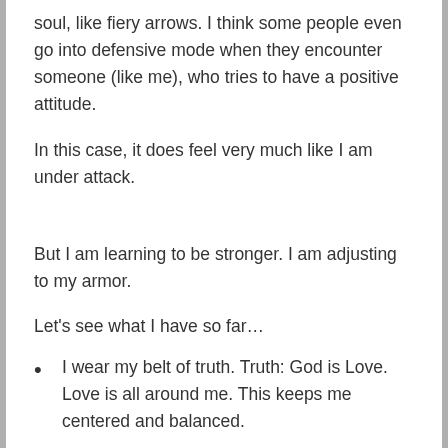soul, like fiery arrows. I think some people even go into defensive mode when they encounter someone (like me), who tries to have a positive attitude.
In this case, it does feel very much like I am under attack.
But I am learning to be stronger. I am adjusting to my armor.
Let's see what I have so far…
I wear my belt of truth. Truth: God is Love. Love is all around me. This keeps me centered and balanced.
I have on my breastplate of righteousness, which